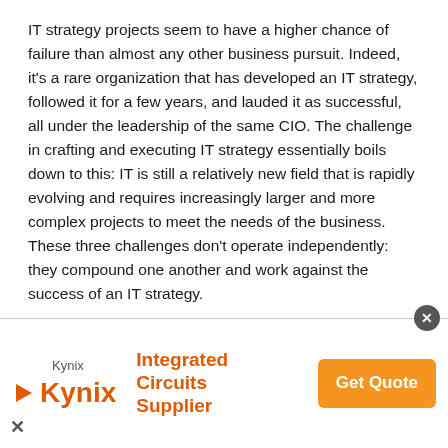IT strategy projects seem to have a higher chance of failure than almost any other business pursuit. Indeed, it's a rare organization that has developed an IT strategy, followed it for a few years, and lauded it as successful, all under the leadership of the same CIO. The challenge in crafting and executing IT strategy essentially boils down to this: IT is still a relatively new field that is rapidly evolving and requires increasingly larger and more complex projects to meet the needs of the business. These three challenges don't operate independently: they compound one another and work against the success of an IT strategy.
Computers are New. Computers are a relatively recent invention. Many of us have seen the
[Figure (other): Kynix Integrated Circuits Supplier advertisement banner with logo, tagline, and Get Quote button]